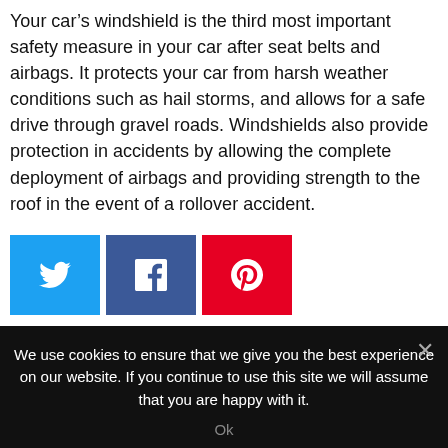Your car's windshield is the third most important safety measure in your car after seat belts and airbags. It protects your car from harsh weather conditions such as hail storms, and allows for a safe drive through gravel roads. Windshields also provide protection in accidents by allowing the complete deployment of airbags and providing strength to the roof in the event of a rollover accident.
[Figure (other): Social share buttons: Twitter (blue), Facebook (dark blue), Pinterest (red)]
YOU MAY ALSO LIKE
We use cookies to ensure that we give you the best experience on our website. If you continue to use this site we will assume that you are happy with it.
Ok